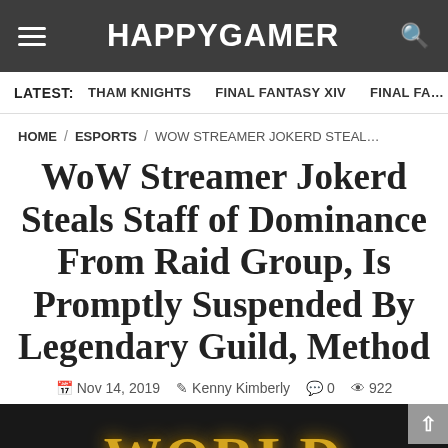HAPPYGAMER
LATEST: THAM KNIGHTS   FINAL FANTASY XIV   FINAL FA...
HOME / ESPORTS / WOW STREAMER JOKERD STEAL...
WoW Streamer Jokerd Steals Staff of Dominance From Raid Group, Is Promptly Suspended By Legendary Guild, Method
Nov 14, 2019   Kenny Kimberly   0   922
[Figure (photo): World of Warcraft game logo on dark background]